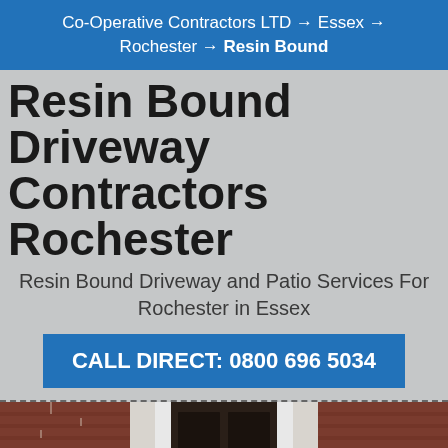Co-Operative Contractors LTD → Essex → Rochester → Resin Bound
Resin Bound Driveway Contractors Rochester
Resin Bound Driveway and Patio Services For Rochester in Essex
CALL DIRECT: 0800 696 5034
[Figure (photo): Photo of a brick building entrance with a dark door and brick columns/pillars on either side]
MENU | SERVICES | CONTACT US | CALL US